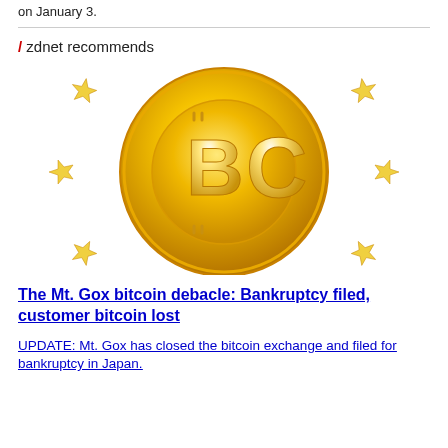on January 3.
/ zdnet recommends
[Figure (illustration): Golden Bitcoin coin with 'BC' letters and star border design]
The Mt. Gox bitcoin debacle: Bankruptcy filed, customer bitcoin lost
UPDATE: Mt. Gox has closed the bitcoin exchange and filed for bankruptcy in Japan.